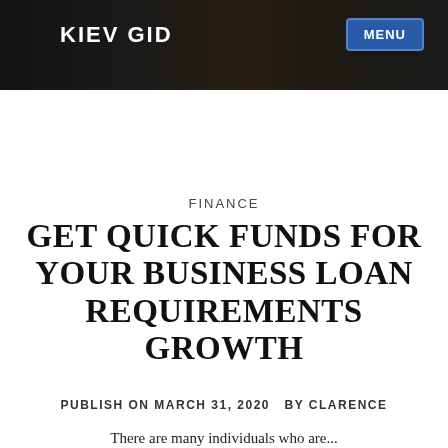KIEV GID
MENU
FINANCE
GET QUICK FUNDS FOR YOUR BUSINESS LOAN REQUIREMENTS GROWTH
PUBLISH ON MARCH 31, 2020  BY CLARENCE
There are many individuals who are...